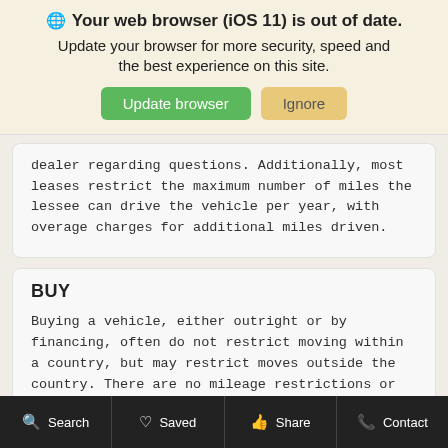[Figure (screenshot): Browser update notification banner with globe icon, title 'Your web browser (iOS 11) is out of date.', subtitle text, and two buttons: 'Update browser' (green) and 'Ignore' (tan/yellow).]
dealer regarding questions. Additionally, most leases restrict the maximum number of miles the lessee can drive the vehicle per year, with overage charges for additional miles driven.
BUY
Buying a vehicle, either outright or by financing, often do not restrict moving within a country, but may restrict moves outside the country. There are no mileage restrictions or penalties with your own vehicle. You are free to drive the vehicle as you like.
Search   Saved   Share   Contact